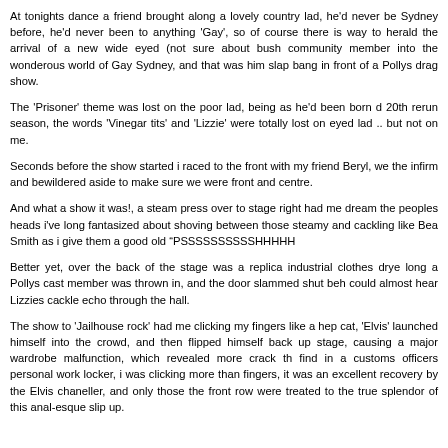At tonights dance a friend brought along a lovely country lad, he'd never be Sydney before, he'd never been to anything 'Gay', so of course there is way to herald the arrival of a new wide eyed (not sure about bush community member into the wonderous world of Gay Sydney, and that was him slap bang in front of a Pollys drag show.
The 'Prisoner' theme was lost on the poor lad, being as he'd been born d 20th rerun season, the words 'Vinegar tits' and 'Lizzie' were totally lost on eyed lad .. but not on me.
Seconds before the show started i raced to the front with my friend Beryl, we the infirm and bewildered aside to make sure we were front and centre.
And what a show it was!, a steam press over to stage right had me dream the peoples heads i've long fantasized about shoving between those steamy and cackling like Bea Smith as i give them a good old “PSSSSSSSSSSHHHH
Better yet, over the back of the stage was a replica industrial clothes drye long a Pollys cast member was thrown in, and the door slammed shut beh could almost hear Lizzies cackle echo through the hall.
The show to 'Jailhouse rock' had me clicking my fingers like a hep cat, 'Elvis' launched himself into the crowd, and then flipped himself back up stage, causing a major wardrobe malfunction, which revealed more crack th find in a customs officers personal work locker, i was clicking more than fingers, it was an excellent recovery by the Elvis chaneller, and only those the front row were treated to the true splendor of this anal-esque slip up.